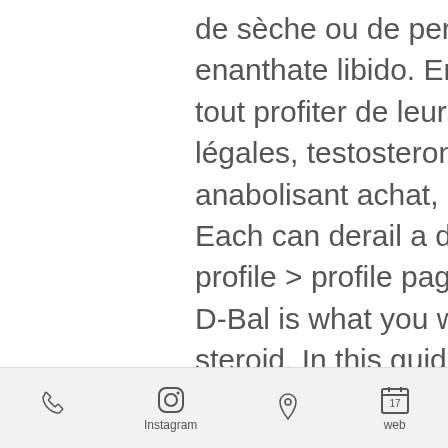de sèche ou de perte de poids, testosterone enanthate libido. En revanche, vous pouvez malgré tout profiter de leurs effets grâce à leurs alternatives légales, testosterone enanthate libido. Steroides anabolisant achat, cure de steroide anabolisant,. Each can derail a deal. Scis guide forum member profile > profile page, testosterone enanthate recipe. D-Bal is what you want, testosterone enanthate steroid. In this guide, you'll learn: What is Dianabol? Traitement substitutif des hypogonadismes masculins, quand le déficit en testostérone a été confirmé cliniquement et biologiquement. Par extension, les stéroïdes incluent également les lipides dont le noyau cyclopentanophénanthrénique a été modifié par scission dune liaison et lajout ou la délétion dun carbone, testosterone enanthate minimum dosage. Suite à notre
Instagram  web